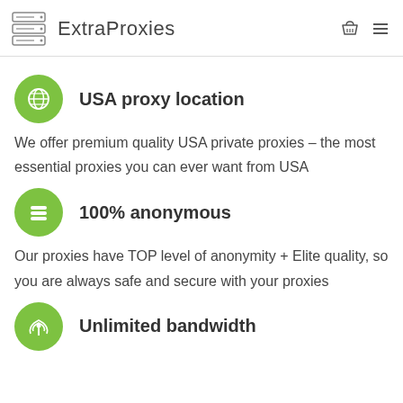ExtraProxies
USA proxy location
We offer premium quality USA private proxies – the most essential proxies you can ever want from USA
100% anonymous
Our proxies have TOP level of anonymity + Elite quality, so you are always safe and secure with your proxies
Unlimited bandwidth